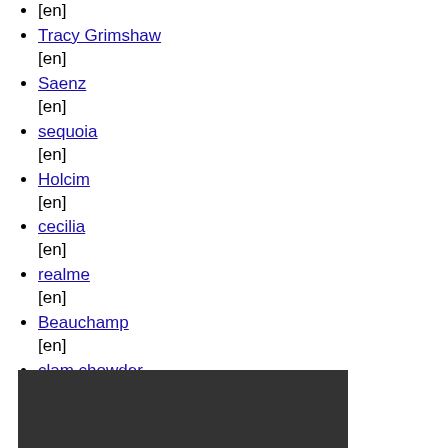[en]
Tracy Grimshaw
[en]
Saenz
[en]
sequoia
[en]
Holcim
[en]
cecilia
[en]
realme
[en]
Beauchamp
[en]
clam chowder
[en]
Maurice
[en]
Learn how to pronounce words and na...
x
[Figure (other): Dark/black rectangle, partially visible at the bottom of the page]